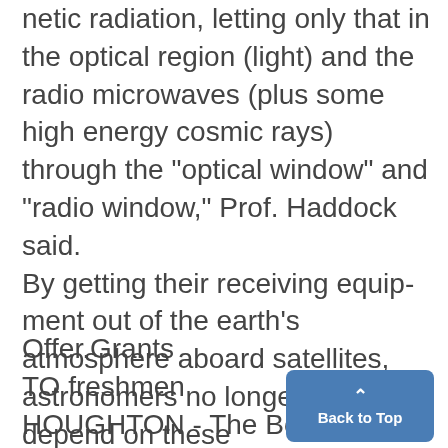netic radiation, letting only that in the optical region (light) and the radio microwaves (plus some high energy cosmic rays) through the "optical window" and "radio window," Prof. Haddock said. By getting their receiving equipment out of the earth's atmosphere aboard satellites, astronomers no longer have to depend on these
Offer.Grants
TO freshmen
HOUGHTON - The Board in
Control of Michigan College of